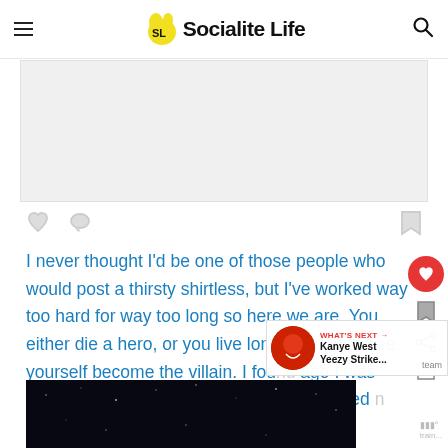Socialite Life
[Figure (other): Gray advertisement/image placeholder box]
I never thought I'd be one of those people who would post a thirsty shirtless, but I've worked way too hard for way too long so here we are. You either die a hero, or you live long enough to see yourself become the villain. I fou[nd out a year] ago I was going to be in Marvel's Eternals and decided [to...]
[Figure (photo): Dark photo at bottom of page, appears to be a night sky or dark background]
WHAT'S NEXT → Kanye West Yeezy Strike...